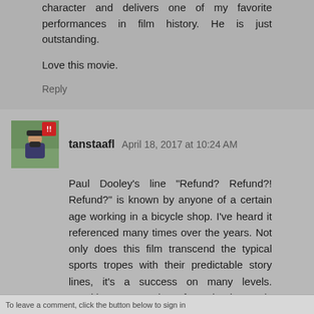character and delivers one of my favorite performances in film history. He is just outstanding.
Love this movie.
Reply
tanstaafl April 18, 2017 at 10:24 AM
Paul Dooley's line "Refund? Refund?! Refund?" is known by anyone of a certain age working in a bicycle shop. I've heard it referenced many times over the years. Not only does this film transcend the typical sports tropes with their predictable story lines, it's a success on many levels. Breaking Away is often inadequately described as a 'coming-of-age' tale. Without dissecting it completely, I'll just say that it holds up decades later, as an example of excellent story-telling and movie making. I've re-watched it more times than I can count.
Reply